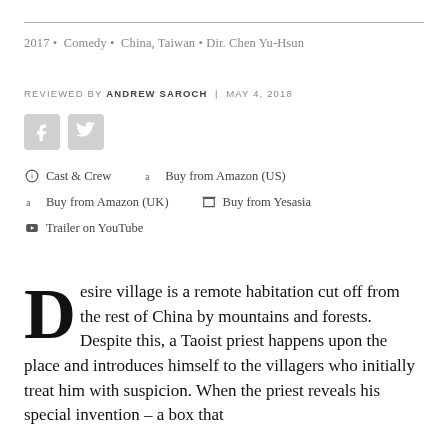2017 · Comedy · China, Taiwan · Dir. Chen Yu-Hsun
REVIEWED BY ANDREW SAROCH | MAY 4, 2018
[Figure (other): Facebook and Twitter social share icons]
Cast & Crew
Buy from Amazon (US)
Buy from Amazon (UK)
Buy from Yesasia
Trailer on YouTube
Desire village is a remote habitation cut off from the rest of China by mountains and forests. Despite this, a Taoist priest happens upon the place and introduces himself to the villagers who initially treat him with suspicion. When the priest reveals his special invention – a box that